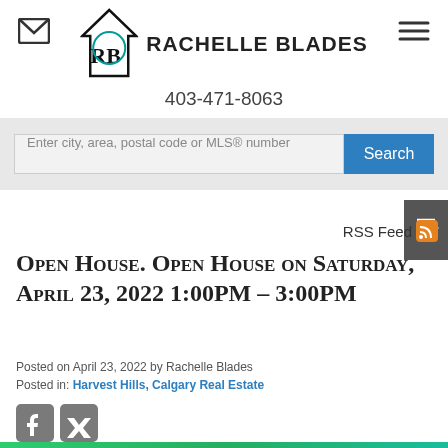RACHELLE BLADES — Blades Realty — 403-471-8063
Enter city, area, postal code or MLS® number
RSS Feed
Open House. Open House on Saturday, April 23, 2022 1:00PM – 3:00PM
Posted on April 23, 2022 by Rachelle Blades
Posted in: Harvest Hills, Calgary Real Estate